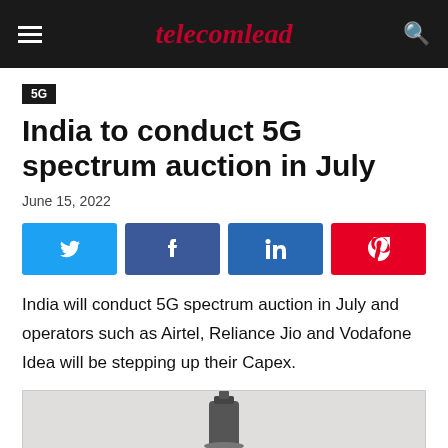telecomlead
5G
India to conduct 5G spectrum auction in July
June 15, 2022
[Figure (other): Social media share buttons: Twitter, Facebook, LinkedIn, Pinterest]
India will conduct 5G spectrum auction in July and operators such as Airtel, Reliance Jio and Vodafone Idea will be stepping up their Capex.
[Figure (photo): Partial photo of telecom/antenna equipment visible at bottom of page]